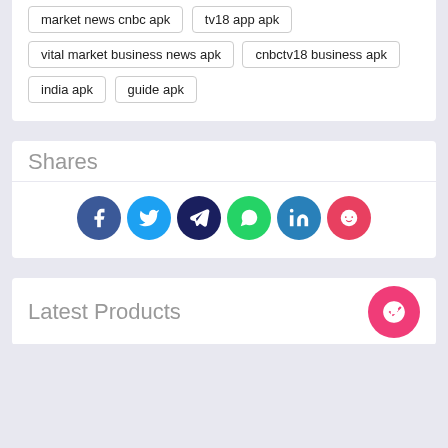market news cnbc apk
tv18 app apk
vital market business news apk
cnbctv18 business apk
india apk
guide apk
Shares
[Figure (infographic): Row of 6 social share icon circles: Facebook (dark blue), Twitter (cyan), Telegram (dark navy), WhatsApp (green), LinkedIn (teal-blue), Reddit (pink-red)]
Latest Products